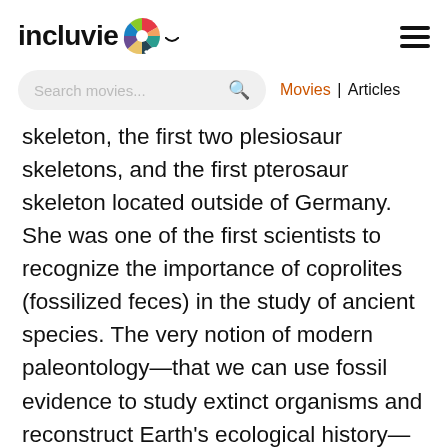incluvie [logo] ☰
Search movies...   Movies | Articles
skeleton, the first two plesiosaur skeletons, and the first pterosaur skeleton located outside of Germany. She was one of the first scientists to recognize the importance of coprolites (fossilized feces) in the study of ancient species. The very notion of modern paleontology—that we can use fossil evidence to study extinct organisms and reconstruct Earth's ecological history—traces back to Anning's work. Her research formed the bedrock of 19th